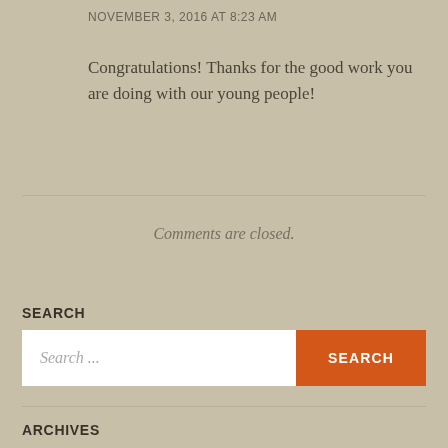NOVEMBER 3, 2016 AT 8:23 AM
Congratulations! Thanks for the good work you are doing with our young people!
Comments are closed.
SEARCH
Search ...
SEARCH
ARCHIVES